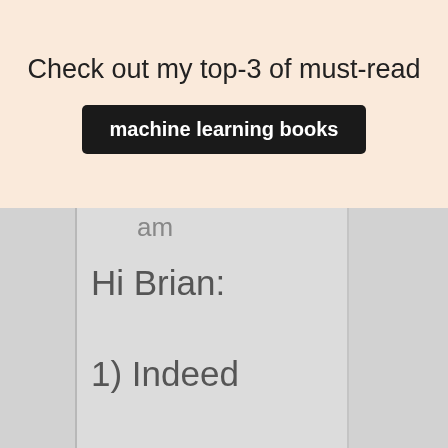Check out my top-3 of must-read
machine learning books
am
Hi Brian:

1) Indeed

the data D

does not

need to be